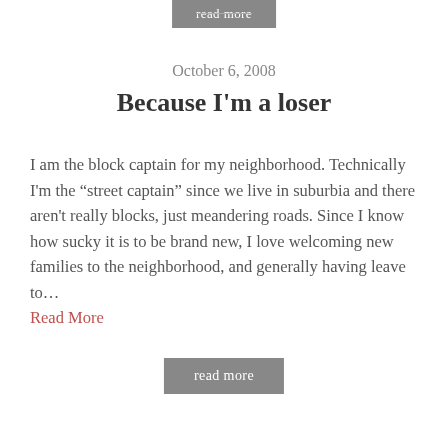read more
October 6, 2008
Because I’m a loser
I am the block captain for my neighborhood. Technically I’m the “street captain” since we live in suburbia and there aren’t really blocks, just meandering roads. Since I know how sucky it is to be brand new, I love welcoming new families to the neighborhood, and generally having leave to… Read More
read more